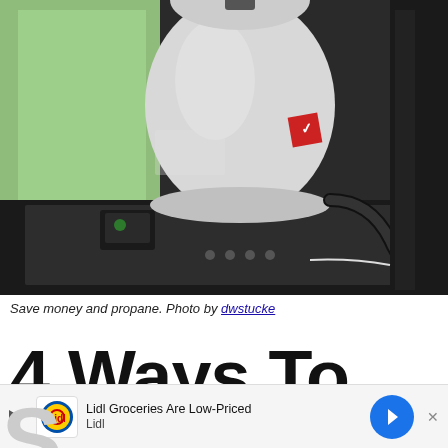[Figure (photo): A white propane tank sitting on a dark metal platform, next to a green surface, with hoses and mechanical components visible. A small electronic device sits on the platform next to the tank.]
Save money and propane. Photo by dwstucke
4 Ways To
[Figure (other): Advertisement banner: Lidl Groceries Are Low-Priced - Lidl]